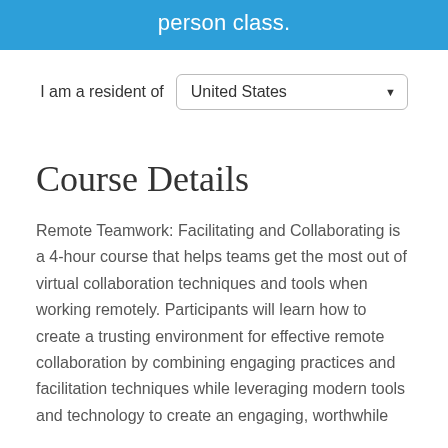person class.
I am a resident of United States
Course Details
Remote Teamwork: Facilitating and Collaborating is a 4-hour course that helps teams get the most out of virtual collaboration techniques and tools when working remotely. Participants will learn how to create a trusting environment for effective remote collaboration by combining engaging practices and facilitation techniques while leveraging modern tools and technology to create an engaging, worthwhile...